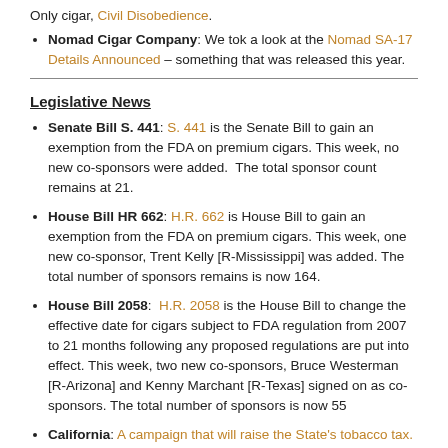Nomad Cigar Company: We tok a look at the Nomad SA-17 Details Announced – something that was released this year.
Legislative News
Senate Bill S. 441: S. 441 is the Senate Bill to gain an exemption from the FDA on premium cigars. This week, no new co-sponsors were added. The total sponsor count remains at 21.
House Bill HR 662: H.R. 662 is House Bill to gain an exemption from the FDA on premium cigars. This week, one new co-sponsor, Trent Kelly [R-Mississippi] was added. The total number of sponsors remains is now 164.
House Bill 2058: H.R. 2058 is the House Bill to change the effective date for cigars subject to FDA regulation from 2007 to 21 months following any proposed regulations are put into effect. This week, two new co-sponsors, Bruce Westerman [R-Arizona] and Kenny Marchant [R-Texas] signed on as co-sponsors. The total number of sponsors is now 55
California: A campaign that will raise the State's tobacco tax.